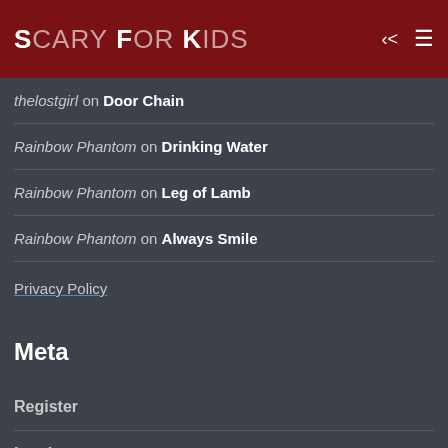SCARY FOR KIDS
thelostgirl on Door Chain
Rainbow Phantom on Drinking Water
Rainbow Phantom on Leg of Lamb
Rainbow Phantom on Always Smile
Privacy Policy
Meta
Register
Log in
Entries feed